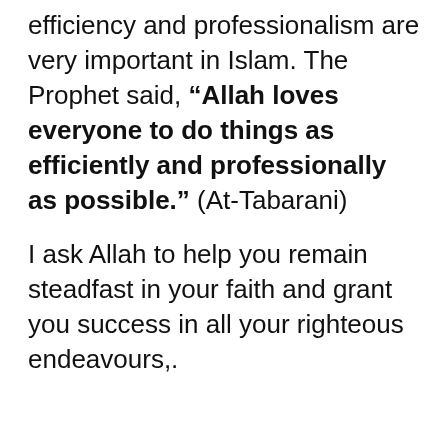efficiency and professionalism are very important in Islam. The Prophet said, “Allah loves everyone to do things as efficiently and professionally as possible.” (At-Tabarani)
I ask Allah to help you remain steadfast in your faith and grant you success in all your righteous endeavours,.